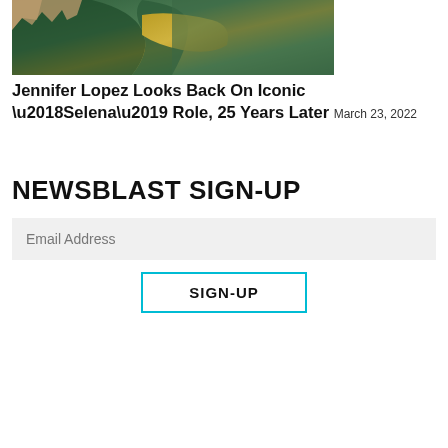[Figure (photo): Photo of Jennifer Lopez wearing a dark green coat and gold/floral scarf, waving with her hand raised]
Jennifer Lopez Looks Back On Iconic ‘Selena’ Role, 25 Years Later March 23, 2022
NEWSBLAST SIGN-UP
Email Address
SIGN-UP